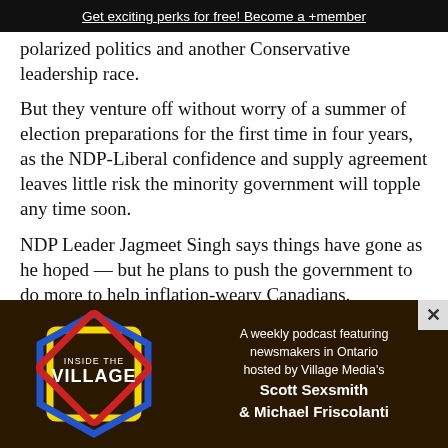Get exciting perks for free! Become a +member
polarized politics and another Conservative leadership race.
But they venture off without worry of a summer of election preparations for the first time in four years, as the NDP-Liberal confidence and supply agreement leaves little risk the minority government will topple any time soon.
NDP Leader Jagmeet Singh says things have gone as he hoped — but he plans to push the government to do more to help inflation-weary Canadians.
Liberal MP Rob Oliphant says the agreement put som
[Figure (advertisement): Inside the Village podcast advertisement. Dark brown background with geometric hexagon/diamond shapes in blue, red, and yellow on the left. Text on the right: 'A weekly podcast featuring newsmakers in Ontario hosted by Village Media's Scott Sexsmith & Michael Friscolanti']